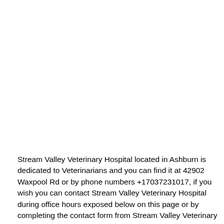Stream Valley Veterinary Hospital located in Ashburn is dedicated to Veterinarians and you can find it at 42902 Waxpool Rd or by phone numbers +17037231017, if you wish you can contact Stream Valley Veterinary Hospital during office hours exposed below on this page or by completing the contact form from Stream Valley Veterinary Hospital 24 hours a day. Remember that in asdphone.com